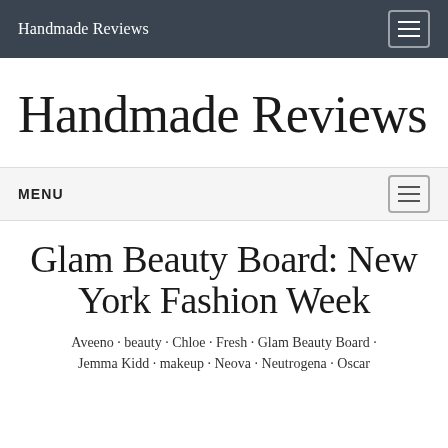Handmade Reviews
Handmade Reviews
MENU
Glam Beauty Board: New York Fashion Week
Aveeno · beauty · Chloe · Fresh · Glam Beauty Board · Jemma Kidd · makeup · Neova · Neutrogena · Oscar